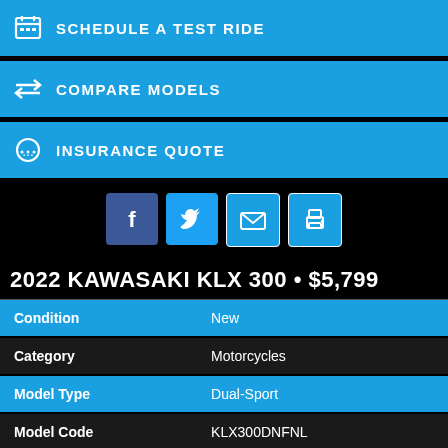SCHEDULE A TEST RIDE
COMPARE MODELS
INSURANCE QUOTE
[Figure (infographic): Social share icons: Facebook, Twitter, Email, Print]
2022 KAWASAKI KLX 300 • $5,799
| Field | Value |
| --- | --- |
| Condition | New |
| Category | Motorcycles |
| Model Type | Dual-Sport |
| Model Code | KLX300DNFNL |
| Color | Lime Green |